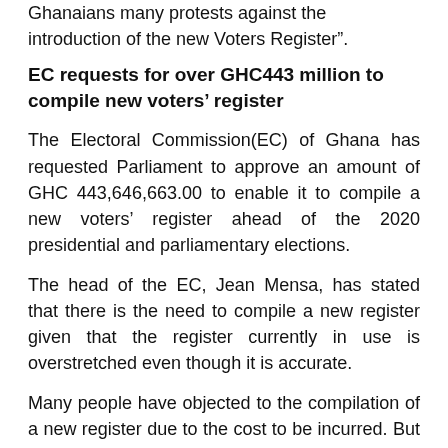Ghanaians many protests against the introduction of the new Voters Register”.
EC requests for over GHC443 million to compile new voters’ register
The Electoral Commission(EC) of Ghana has requested Parliament to approve an amount of GHC 443,646,663.00 to enable it to compile a new voters’ register ahead of the 2020 presidential and parliamentary elections.
The head of the EC, Jean Mensa, has stated that there is the need to compile a new register given that the register currently in use is overstretched even though it is accurate.
Many people have objected to the compilation of a new register due to the cost to be incurred. But the EC insists the cost will be worthwhile.